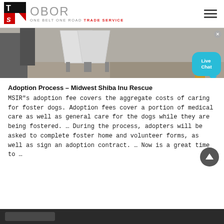[Figure (logo): OBOR Trade Service logo with TS monogram in red/black square and 'OBOR ONE BELT ONE ROAD TRADE SERVICE' text]
[Figure (photo): Industrial machinery/equipment photo showing white funnel-shaped components on a factory floor with yellow stripe]
Adoption Process – Midwest Shiba Inu Rescue
MSIR"s adoption fee covers the aggregate costs of caring for foster dogs. Adoption fees cover a portion of medical care as well as general care for the dogs while they are being fostered. … During the process, adopters will be asked to complete foster home and volunteer forms, as well as sign an adoption contract. … Now is a great time to …